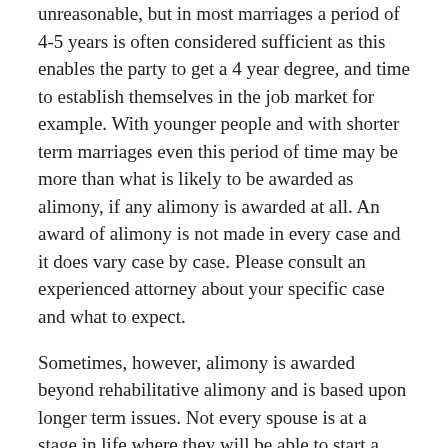unreasonable, but in most marriages a period of 4-5 years is often considered sufficient as this enables the party to get a 4 year degree, and time to establish themselves in the job market for example. With younger people and with shorter term marriages even this period of time may be more than what is likely to be awarded as alimony, if any alimony is awarded at all. An award of alimony is not made in every case and it does vary case by case. Please consult an experienced attorney about your specific case and what to expect.
Sometimes, however, alimony is awarded beyond rehabilitative alimony and is based upon longer term issues. Not every spouse is at a stage in life where they will be able to start a new or become independent from their spouse financially. In such cases alimony can be awarded for much longer periods of time, it can even be made permanent. Cases like this usually involve older people and longer term marriages.
Any case involving alimony will usually be fought hard as